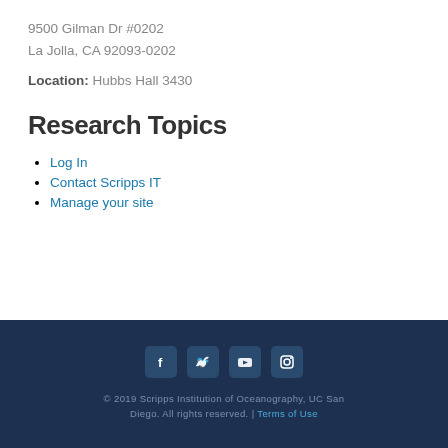9500 Gilman Dr #0202
La Jolla, CA 92093-0202
Location: Hubbs Hall 3430
Research Topics
Log In
Contact Scripps IT
Manage your site
© 2019 Scripps Institution of Oceanography, UC San Diego. All rights reserved. | Terms of Use